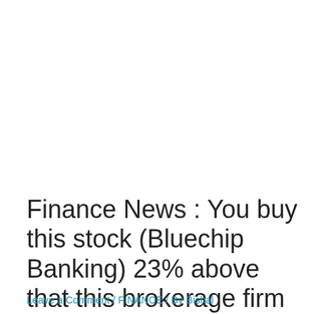Finance News : You buy this stock (Bluechip Banking) 23% above that this brokerage firm says buy the stock
Leave a Comment / FINANCE / By Bishal